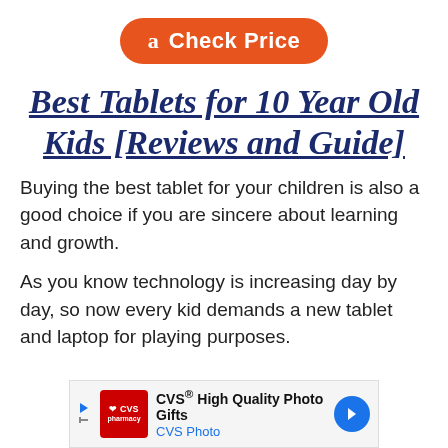[Figure (other): Amazon 'Check Price' button — orange rounded rectangle with Amazon 'a' logo and white text 'Check Price']
Best Tablets for 10 Year Old Kids [Reviews and Guide]
Buying the best tablet for your children is also a good choice if you are sincere about learning and growth.
As you know technology is increasing day by day, so now every kid demands a new tablet and laptop for playing purposes.
[Figure (other): CVS advertisement banner: CVS Pharmacy logo (red square), text 'CVS® High Quality Photo Gifts', 'CVS Photo', blue directional arrow on right, small media control arrows on left.]